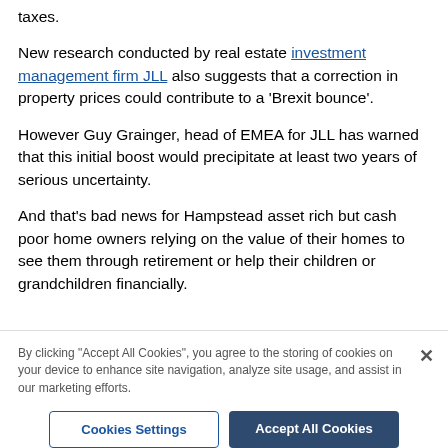taxes.
New research conducted by real estate investment management firm JLL also suggests that a correction in property prices could contribute to a 'Brexit bounce'.
However Guy Grainger, head of EMEA for JLL has warned that this initial boost would precipitate at least two years of serious uncertainty.
And that's bad news for Hampstead asset rich but cash poor home owners relying on the value of their homes to see them through retirement or help their children or grandchildren financially.
By clicking "Accept All Cookies", you agree to the storing of cookies on your device to enhance site navigation, analyze site usage, and assist in our marketing efforts.
Cookies Settings
Accept All Cookies